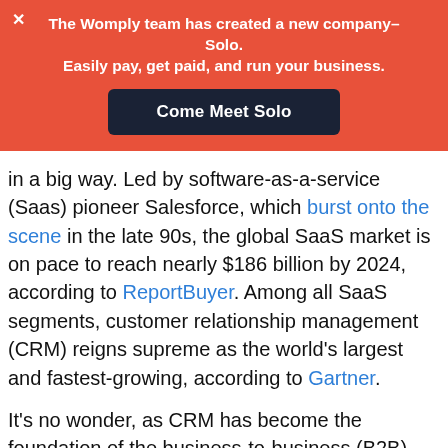[Figure (other): Promotional banner with red background. Contains a close (X) button, bold white text 'The Womply team has created a new company–Solo. Easily pay, get paid, and run your business.' and a dark navy button labeled 'Come Meet Solo'.]
in a big way. Led by software-as-a-service (Saas) pioneer Salesforce, which burst onto the scene in the late 90s, the global SaaS market is on pace to reach nearly $186 billion by 2024, according to ReportBuyer. Among all SaaS segments, customer relationship management (CRM) reigns supreme as the world's largest and fastest-growing, according to Gartner.
It's no wonder, as CRM has become the foundation of the business-to-business (B2B) technology stack for many companies. But in spite of that traction, a major sector of the economy has been left behind: the small, brick-and-